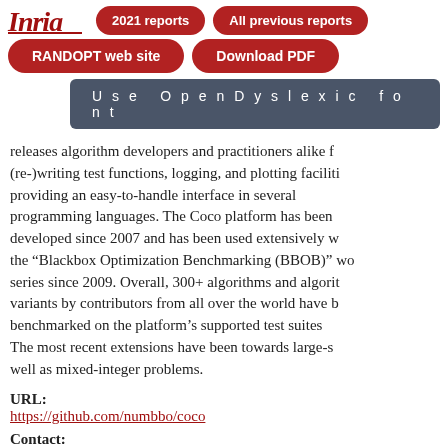[Figure (logo): Inria logo in red italic script with underline]
[Figure (other): Navigation buttons: 2021 reports, All previous reports, RANDOPT web site, Download PDF, Use OpenDyslexic font]
releases algorithm developers and practitioners alike from (re-)writing test functions, logging, and plotting facilities, providing an easy-to-handle interface in several programming languages. The Coco platform has been developed since 2007 and has been used extensively with the "Blackbox Optimization Benchmarking (BBOB)" workshop series since 2009. Overall, 300+ algorithms and algorithm variants by contributors from all over the world have been benchmarked on the platform's supported test suites. The most recent extensions have been towards large-scale as well as mixed-integer problems.
URL: https://github.com/numbbo/coco
Contact: Dimo Brockhoff